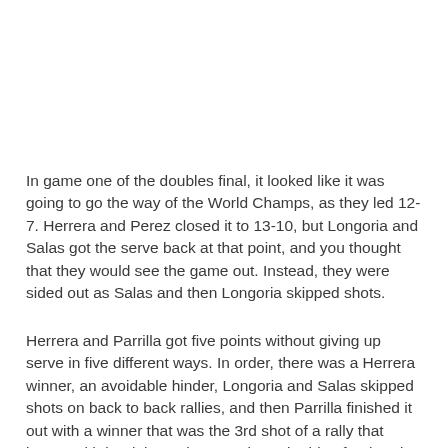In game one of the doubles final, it looked like it was going to go the way of the World Champs, as they led 12-7. Herrera and Perez closed it to 13-10, but Longoria and Salas got the serve back at that point, and you thought that they would see the game out. Instead, they were sided out as Salas and then Longoria skipped shots.
Herrera and Parrilla got five points without giving up serve in five different ways. In order, there was a Herrera winner, an avoidable hinder, Longoria and Salas skipped shots on back to back rallies, and then Parrilla finished it out with a winner that was the 3rd shot of a rally that began with her lob serving to Salas, who hit a forehand down the line that came off the back wall setting Parrilla up for a pinch shot that won